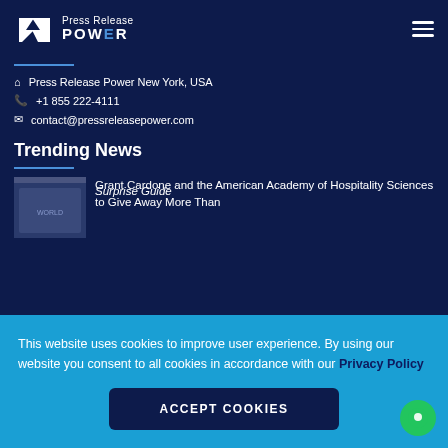Press Release Power
Press Release Power New York, USA
+1 855 222-4111
contact@pressreleasepower.com
Trending News
Grant Cardone and the American Academy of Hospitality Sciences to Give Away More Than
This website uses cookies to improve user experience. By using our website you consent to all cookies in accordance with our Privacy Policy
ACCEPT COOKIES